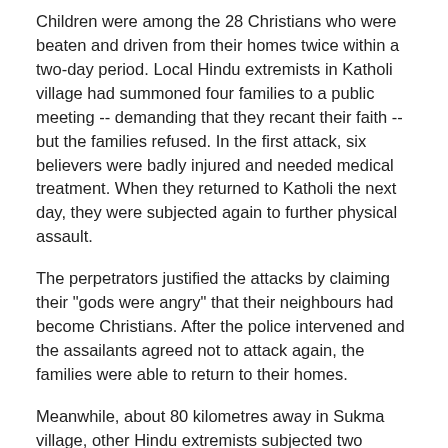Children were among the 28 Christians who were beaten and driven from their homes twice within a two-day period. Local Hindu extremists in Katholi village had summoned four families to a public meeting -- demanding that they recant their faith -- but the families refused. In the first attack, six believers were badly injured and needed medical treatment. When they returned to Katholi the next day, they were subjected again to further physical assault.
The perpetrators justified the attacks by claiming their "gods were angry" that their neighbours had become Christians. After the police intervened and the assailants agreed not to attack again, the families were able to return to their homes.
Meanwhile, about 80 kilometres away in Sukma village, other Hindu extremists subjected two Christians to a two-hour "purification" ritual in which one of them was burned as fire-heated coins were forcibly placed on his tongue. He also suffered burns to his back, shoulders, knees and feet. When the two Christians still refused to deny Christ, they were fined as well.